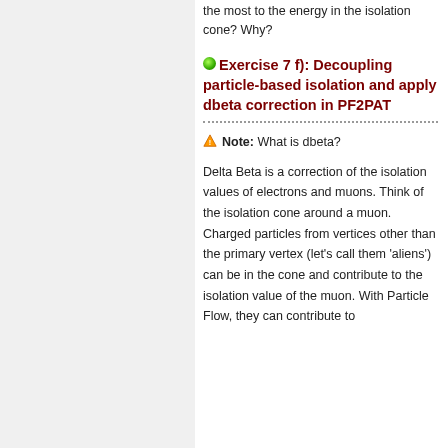the most to the energy in the isolation cone? Why?
Exercise 7 f): Decoupling particle-based isolation and apply dbeta correction in PF2PAT
Note: What is dbeta?
Delta Beta is a correction of the isolation values of electrons and muons. Think of the isolation cone around a muon. Charged particles from vertices other than the primary vertex (let's call them 'aliens') can be in the cone and contribute to the isolation value of the muon. With Particle Flow, they can contribute to